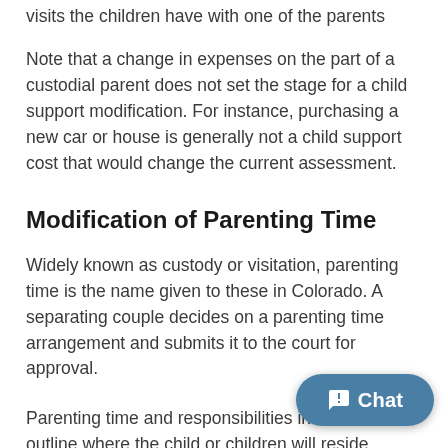visits the children have with one of the parents
Note that a change in expenses on the part of a custodial parent does not set the stage for a child support modification. For instance, purchasing a new car or house is generally not a child support cost that would change the current assessment.
Modification of Parenting Time
Widely known as custody or visitation, parenting time is the name given to these in Colorado. A separating couple decides on a parenting time arrangement and submits it to the court for approval.
Parenting time and responsibilities in Colorado outline where the child or children will reside, typically with one parent. The other parent gets parenting time according to the age of the child, with younger children